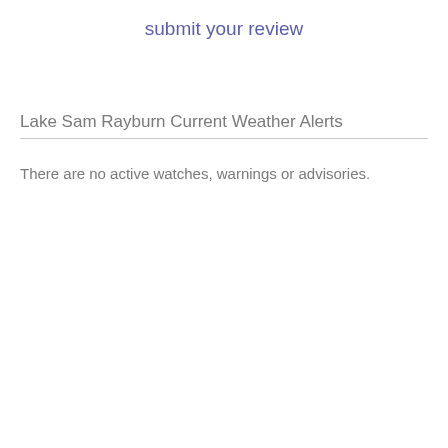submit your review
Lake Sam Rayburn Current Weather Alerts
There are no active watches, warnings or advisories.